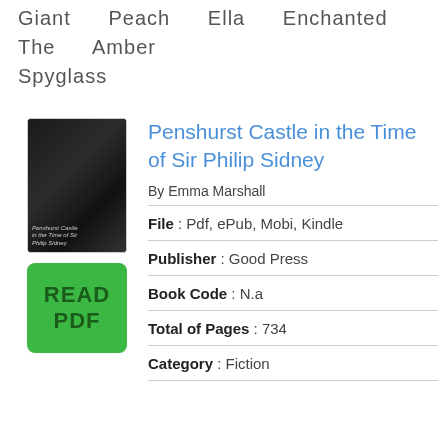Giant Peach Ella Enchanted The Amber Spyglass
Penshurst Castle in the Time of Sir Philip Sidney
By Emma Marshall
[Figure (illustration): Book cover thumbnail for Penshurst Castle in the Time of Sir Philip Sidney, dark background with small italic text]
[Figure (other): Green READ PDF button]
File : Pdf, ePub, Mobi, Kindle
Publisher : Good Press
Book Code : N.a
Total of Pages : 734
Category : Fiction